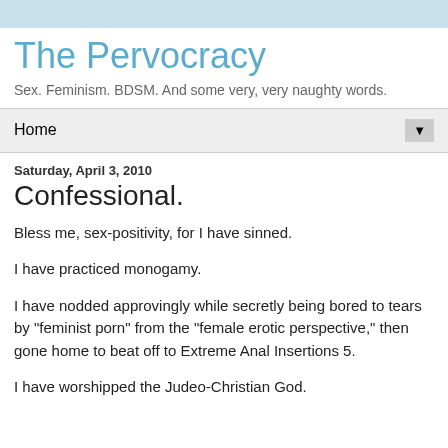The Pervocracy
Sex. Feminism. BDSM. And some very, very naughty words.
Home
Saturday, April 3, 2010
Confessional.
Bless me, sex-positivity, for I have sinned.
I have practiced monogamy.
I have nodded approvingly while secretly being bored to tears by "feminist porn" from the "female erotic perspective," then gone home to beat off to Extreme Anal Insertions 5.
I have worshipped the Judeo-Christian God.